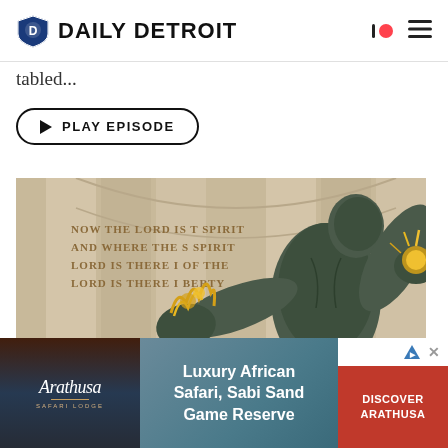DAILY DETROIT
tabled...
PLAY EPISODE
[Figure (photo): Spirit of Detroit bronze statue with gold leaf hands, holding a golden orb shooting sparks. Behind is a stone monument with engraved text: NOW THE LORD IS THAT SPIRIT AND WHERE THE SPIRIT OF THE LORD IS THERE IS LIBERTY]
[Figure (infographic): Advertisement banner: Arathusa Safari Lodge - Luxury African Safari, Sabi Sand Game Reserve. DISCOVER ARATHUSA button in red.]